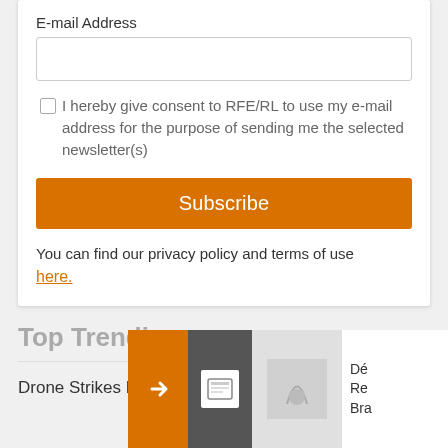E-mail Address
I hereby give consent to RFE/RL to use my e-mail address for the purpose of sending me the selected newsletter(s)
Subscribe
You can find our privacy policy and terms of use here.
Top Trending
Drone Strikes Headquarters